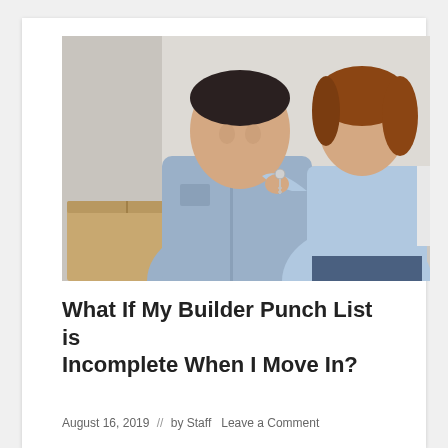[Figure (photo): A smiling couple holding house keys surrounded by moving boxes in a bright white room. The man wears a denim shirt and the woman in a light blue top leans on his shoulder holding keys.]
What If My Builder Punch List is Incomplete When I Move In?
August 16, 2019  //  by Staff  Leave a Comment